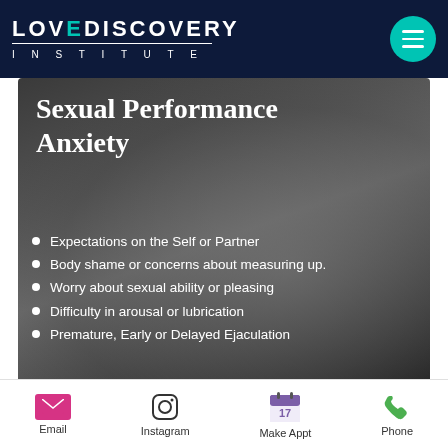LOVEDISCOVERY INSTITUTE
Sexual Performance Anxiety
Expectations on the Self or Partner
Body shame or concerns about measuring up.
Worry about sexual ability or pleasing
Difficulty in arousal or lubrication
Premature, Early or Delayed Ejaculation
Email  Instagram  Make Appt  Phone